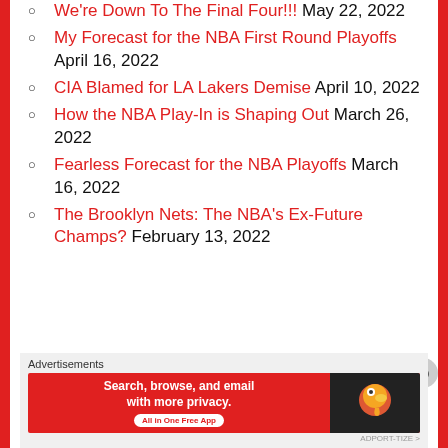We're Down To The Final Four!!! May 22, 2022
My Forecast for the NBA First Round Playoffs April 16, 2022
CIA Blamed for LA Lakers Demise April 10, 2022
How the NBA Play-In is Shaping Out March 26, 2022
Fearless Forecast for the NBA Playoffs March 16, 2022
The Brooklyn Nets: The NBA's Ex-Future Champs? February 13, 2022
[Figure (screenshot): DuckDuckGo advertisement banner: 'Search, browse, and email with more privacy. All in One Free App' with DuckDuckGo logo on dark right panel.]